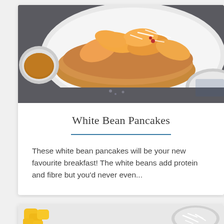[Figure (photo): Overhead photo of white bean pancakes topped with sliced peaches, coconut shavings, and syrup on a white plate, with a small bowl of sauce on the left and a decorative plate on the right, on a dark slate surface]
White Bean Pancakes
These white bean pancakes will be your new favourite breakfast! The white beans add protein and fibre but you'd never even...
[Figure (photo): Overhead photo of yellow mango pieces and a bowl of shredded coconut on a light gray surface]